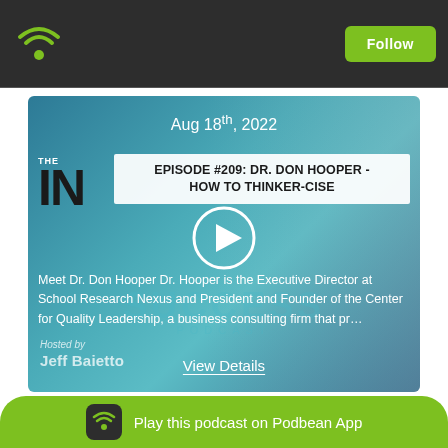[Figure (screenshot): Podbean app top navigation bar with green wifi/podcast icon on left and green Follow button on right, dark background]
[Figure (screenshot): Podcast episode card with teal/blue background showing a person, episode title, date, description, play button, host credit and View Details link]
Aug 18th, 2022
EPISODE #209: DR. DON HOOPER - HOW TO THINKER-CISE
Meet Dr. Don Hooper Dr. Hooper is the Executive Director at School Research Nexus and President and Founder of the Center for Quality Leadership, a business consulting firm that pr...
View Details
Hosted by
Jeff Baietto
Play this podcast on Podbean App